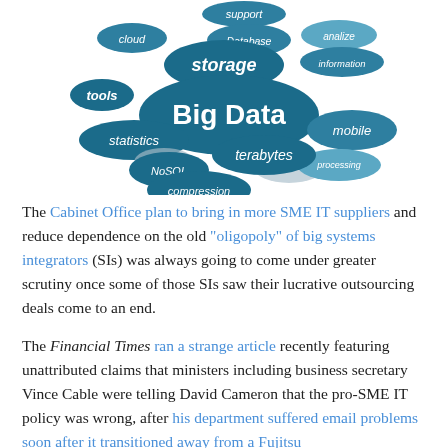[Figure (illustration): Word cloud / illustration showing Big Data related terms in teal-colored cloud shapes: Big Data (large, central), storage, cloud, tools, statistics, Database, support, analize, information, mobile, terabytes, processing, NoSQL, compression]
The Cabinet Office plan to bring in more SME IT suppliers and reduce dependence on the old "oligopoly" of big systems integrators (SIs) was always going to come under greater scrutiny once some of those SIs saw their lucrative outsourcing deals come to an end.
The Financial Times ran a strange article recently featuring unattributed claims that ministers including business secretary Vince Cable were telling David Cameron that the pro-SME IT policy was wrong, after his department suffered email problems soon after it transitioned away from a Fujitsu